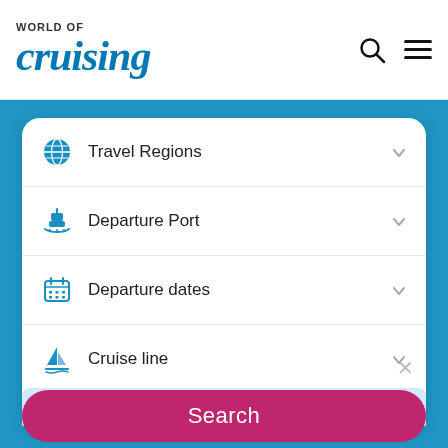WORLD OF cruising
Travel Regions
Departure Port
Departure dates
Cruise line
Advanced Search +
Unclassifiable sales offers
Search